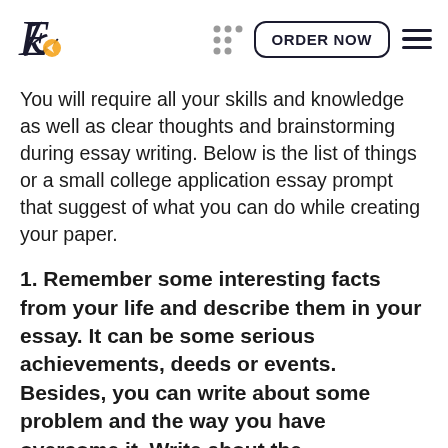ORDER NOW
You will require all your skills and knowledge as well as clear thoughts and brainstorming during essay writing. Below is the list of things or a small college application essay prompt that suggest of what you can do while creating your paper.
1. Remember some interesting facts from your life and describe them in your essay. It can be some serious achievements, deeds or events. Besides, you can write about some problem and the way you have overcome it. Write about the